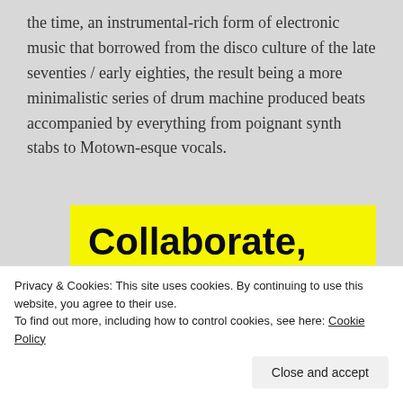the time, an instrumental-rich form of electronic music that borrowed from the disco culture of the late seventies / early eighties, the result being a more minimalistic series of drum machine produced beats accompanied by everything from poignant synth stabs to Motown-esque vocals.
[Figure (other): Yellow banner with bold text reading 'Collaborate, P2.' and a WordPress 'Powered by' logo in the bottom right corner]
Privacy & Cookies: This site uses cookies. By continuing to use this website, you agree to their use.
To find out more, including how to control cookies, see here: Cookie Policy